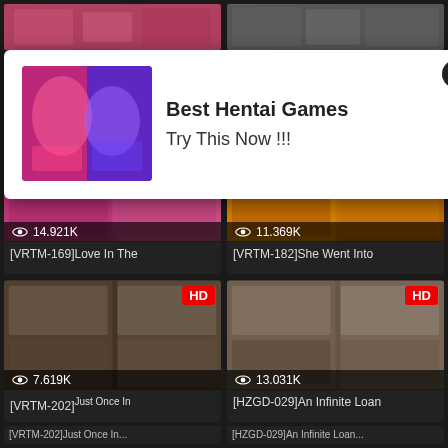[Figure (screenshot): Top partial strip of two thumbnail images cropped at top]
[Figure (screenshot): Ad overlay with anime/hentai game image on left and text on right with close button]
Best Hentai Games
Try This Now !!!
[Figure (screenshot): Video thumbnail card HD - 14.921K views - [VRTM-169]Love In The]
[Figure (screenshot): Video thumbnail card HD - 11.369K views - [VRTM-182]She Went Into]
[Figure (screenshot): Video thumbnail card HD - 7.619K views - [VRTM-202]Just Once In]
[Figure (screenshot): Video thumbnail card HD - 13.031K views - [HZGD-029]An Infinite Loan]